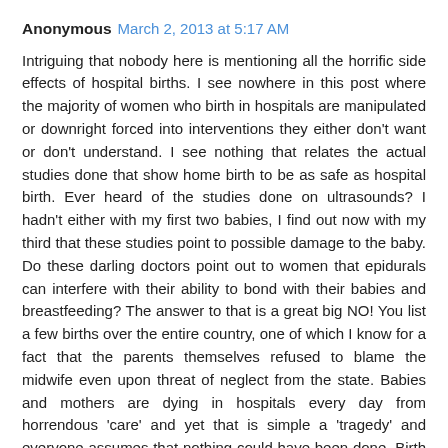Anonymous March 2, 2013 at 5:17 AM
Intriguing that nobody here is mentioning all the horrific side effects of hospital births. I see nowhere in this post where the majority of women who birth in hospitals are manipulated or downright forced into interventions they either don't want or don't understand. I see nothing that relates the actual studies done that show home birth to be as safe as hospital birth. Ever heard of the studies done on ultrasounds? I hadn't either with my first two babies, I find out now with my third that these studies point to possible damage to the baby. Do these darling doctors point out to women that epidurals can interfere with their ability to bond with their babies and breastfeeding? The answer to that is a great big NO! You list a few births over the entire country, one of which I know for a fact that the parents themselves refused to blame the midwife even upon threat of neglect from the state. Babies and mothers are dying in hospitals every day from horrendous 'care' and yet that is simple a 'tragedy' and everyone assumes that nothing could have been done. Birth plans are ignored, women are treated like cattle, and fathers are told that they have no right to speak. Our country has a c-section rate that is well over double